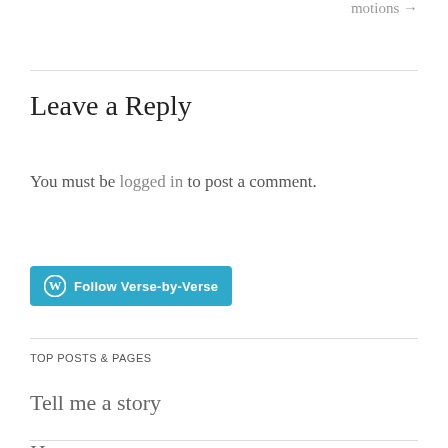motions →
Leave a Reply
You must be logged in to post a comment.
[Figure (other): WordPress Follow button: cyan/teal rounded rectangle with WordPress logo and text 'Follow Verse-by-Verse']
TOP POSTS & PAGES
Tell me a story
Home